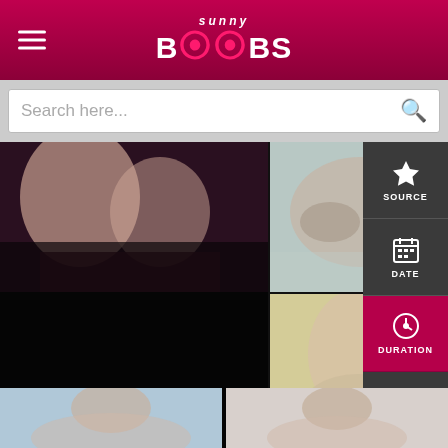[Figure (screenshot): Website header with logo 'Sunny Boobs' and hamburger menu on dark pink/magenta gradient background]
[Figure (screenshot): Search bar with placeholder text 'Search here...' and magnifying glass icon]
[Figure (screenshot): Adult content website grid layout with thumbnail images and right-side navigation panel with SOURCE, DATE, DURATION (active/highlighted), and GOUP buttons]